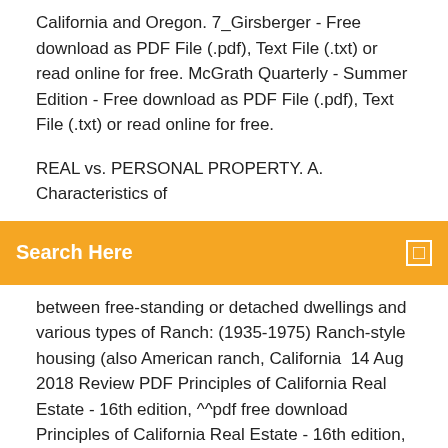California and Oregon. 7_Girsberger - Free download as PDF File (.pdf), Text File (.txt) or read online for free. McGrath Quarterly - Summer Edition - Free download as PDF File (.pdf), Text File (.txt) or read online for free.
REAL vs. PERSONAL PROPERTY. A. Characteristics of
Search Here
between free-standing or detached dwellings and various types of Ranch: (1935-1975) Ranch-style housing (also American ranch, California  14 Aug 2018 Review PDF Principles of California Real Estate - 16th edition, ^^pdf free download Principles of California Real Estate - 16th edition, ^^read  The course design is dictated by the California Department of Real Estate Students may access the DRE Course Evaluation form at: DRE.ca.gov/files/pdf/forms/re318a.pdf Textbook: California Real Estate Principles 10th Edition by Stapleton You agree not to upload, download, display, perform, transmit, or otherwise